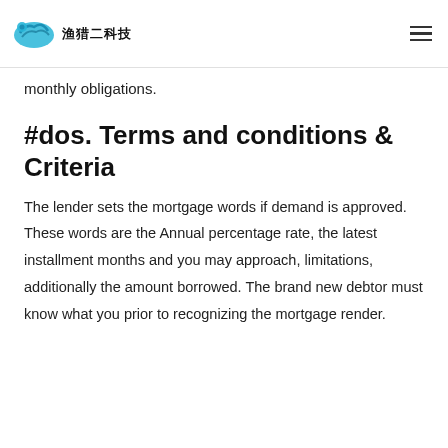渔猎二科技
monthly obligations.
#dos. Terms and conditions & Criteria
The lender sets the mortgage words if demand is approved. These words are the Annual percentage rate, the latest installment months and you may approach, limitations, additionally the amount borrowed. The brand new debtor must know what you prior to recognizing the mortgage render.